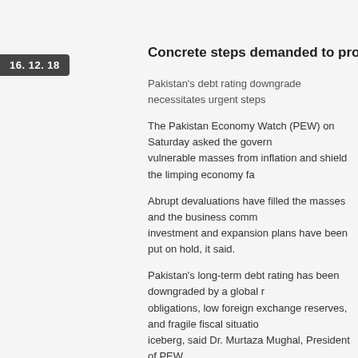16. 12. 18
Concrete steps demanded to protect masses, e
Pakistan's debt rating downgrade necessitates urgent steps
The Pakistan Economy Watch (PEW) on Saturday asked the government to protect vulnerable masses from inflation and shield the limping economy fa
Abrupt devaluations have filled the masses and the business comm investment and expansion plans have been put on hold, it said.
Pakistan's long-term debt rating has been downgraded by a global r obligations, low foreign exchange reserves, and fragile fiscal situatio iceberg, said Dr. Murtaza Mughal, President of PEW.
He said that the government claims that the exchange rate has now reflective of the market conditions while independent experts contin
The exchange rates generally move on demand and supply in the m recent devaluation was the last fiscal year's $19 billion current acco bank should protect the rupee-dollar parity, he added.
Dr. Murtaza Mughal said that the forex reserves are not enough, the talks with IMF without any delay otherwise rupee will come under m